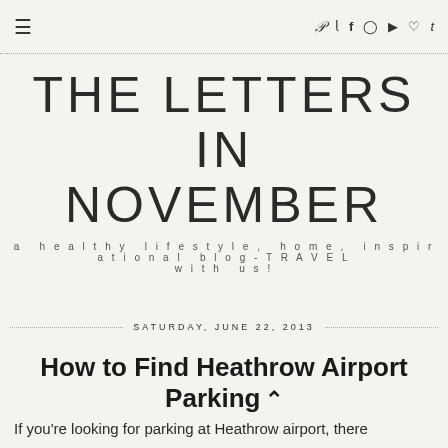≡   𝒫  𝓉  𝒻  ⊡  ▶  ♡  𝓉
THE LETTERS IN NOVEMBER
a healthy lifestyle, home, inspirational blog-TRAVEL with us!
SATURDAY, JUNE 22, 2013
How to Find Heathrow Airport Parking
If you're looking for parking at Heathrow airport, there